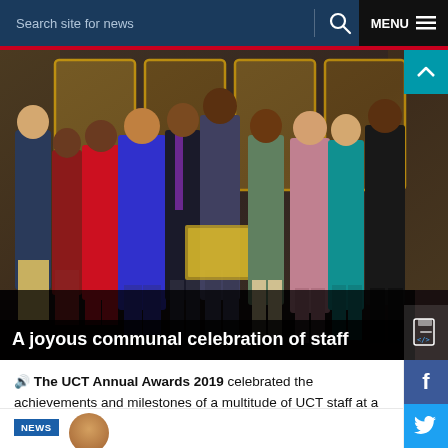Search site for news   MENU
[Figure (photo): Group photo of UCT staff at the UCT Annual Awards 2019 ceremony, standing together holding awards and plaques in a decorated venue]
A joyous communal celebration of staff
🔊 The UCT Annual Awards 2019 celebrated the achievements and milestones of a multitude of UCT staff at a scintillating function held on 28 November.
02 DEC 2019 - 5 min read
[Figure (photo): Partial photo of a person, with NEWS badge visible, at the bottom of the page]